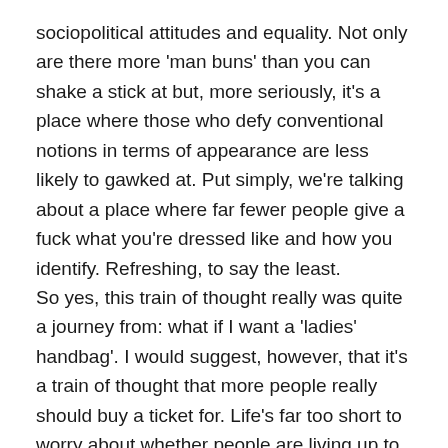sociopolitical attitudes and equality. Not only are there more 'man buns' than you can shake a stick at but, more seriously, it's a place where those who defy conventional notions in terms of appearance are less likely to gawked at. Put simply, we're talking about a place where far fewer people give a fuck what you're dressed like and how you identify. Refreshing, to say the least.
So yes, this train of thought really was quite a journey from: what if I want a 'ladies' handbag'. I would suggest, however, that it's a train of thought that more people really should buy a ticket for. Life's far too short to worry about whether people are living up to pre-defined notions of gender forced upon from before they were born.
Now if you'll excuse me, I have some cleaning to do and these stilettos won't wear themselves.